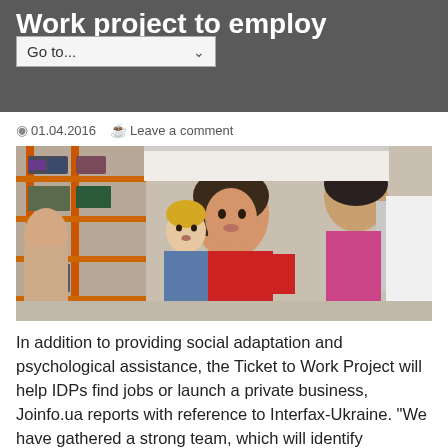Work project to employ IDPs
01.04.2016   Leave a comment
[Figure (photo): A woman in a red shirt holds a young blonde child in a denim outfit. They are inside what appears to be a clothing store or aid distribution center with orange shelving racks filled with items. Other people are visible in the background.]
In addition to providing social adaptation and psychological assistance, the Ticket to Work Project will help IDPs find jobs or launch a private business, Joinfo.ua reports with reference to Interfax-Ukraine. “We have gathered a strong team, which will identify problems ...
Read More »